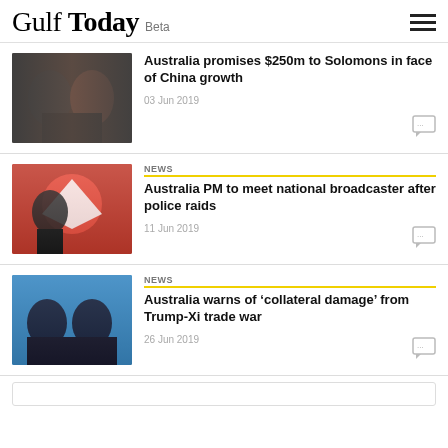Gulf Today Beta
Australia promises $250m to Solomons in face of China growth
03 Jun 2019
NEWS
Australia PM to meet national broadcaster after police raids
11 Jun 2019
NEWS
Australia warns of ‘collateral damage’ from Trump-Xi trade war
26 Jun 2019